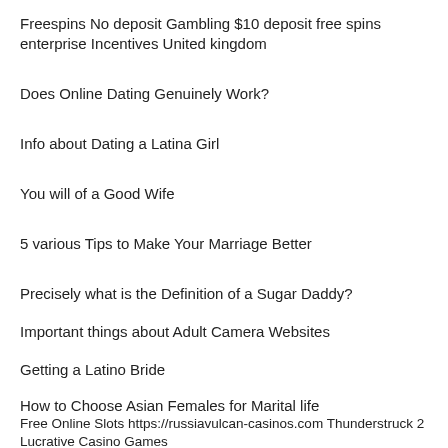Freespins No deposit Gambling $10 deposit free spins enterprise Incentives United kingdom
Does Online Dating Genuinely Work?
Info about Dating a Latina Girl
You will of a Good Wife
5 various Tips to Make Your Marriage Better
Precisely what is the Definition of a Sugar Daddy?
Important things about Adult Camera Websites
Getting a Latino Bride
How to Choose Asian Females for Marital life
Free Online Slots https://russiavulcan-casinos.com Thunderstruck 2 Lucrative Casino Games